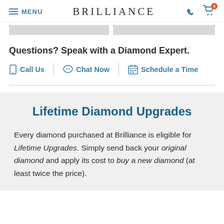MENU | BRILLIANCE
Questions? Speak with a Diamond Expert.
Call Us | Chat Now | Schedule a Time
Lifetime Diamond Upgrades
Every diamond purchased at Brilliance is eligible for Lifetime Upgrades. Simply send back your original diamond and apply its cost to buy a new diamond (at least twice the price).